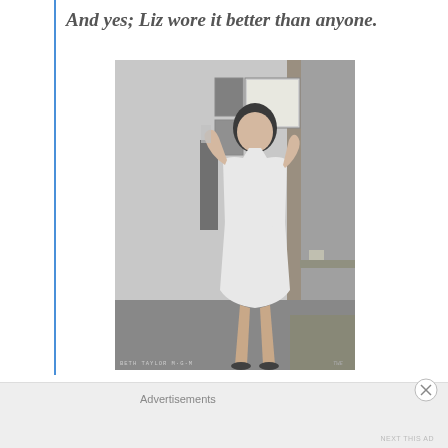And yes; Liz wore it better than anyone.
[Figure (photo): Black and white photograph of Elizabeth Taylor (labeled BETH TAYLOR M·G·M at bottom left) in a white slip dress, standing in a doorway holding a glass, with framed pictures visible on the wall behind her.]
Advertisements